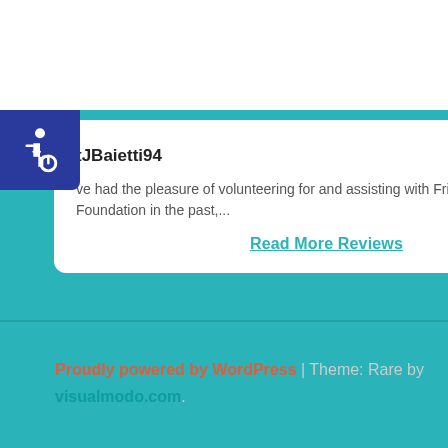[Figure (other): Hamburger menu button with three horizontal lines inside a rounded rectangle border]
[Figure (other): Accessibility icon (wheelchair symbol) in white on dark blue square background]
tJBaietti94
[Figure (other): Five gold star rating icons]
ve had the pleasure of volunteering for and assisting with Friends Connect Foundation in the past,...
Read More Reviews
Proudly powered by WordPress | Theme: Rare by visualmodo.com.